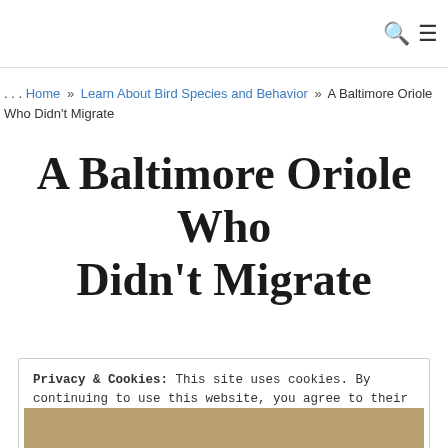. . . Home » Learn About Bird Species and Behavior » A Baltimore Oriole Who Didn't Migrate
A Baltimore Oriole Who Didn't Migrate
Privacy & Cookies: This site uses cookies. By continuing to use this website, you agree to their use.
To find out more, including how to control cookies, see here: Cookie Policy
Close and accept
[Figure (photo): Bottom strip showing partial photo of a bird (Baltimore Oriole) on a natural background]